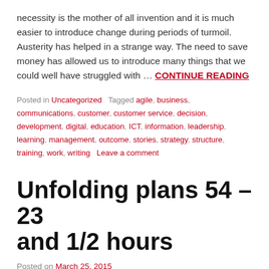necessity is the mother of all invention and it is much easier to introduce change during periods of turmoil. Austerity has helped in a strange way. The need to save money has allowed us to introduce many things that we could well have struggled with … CONTINUE READING
Posted in Uncategorized   Tagged agile, business, communications, customer, customer service, decision, development, digital, education, ICT, information, leadership, learning, management, outcome, stories, strategy, structure, training, work, writing   Leave a comment
Unfolding plans 54 – 23 and 1/2 hours
Posted on March 25, 2015